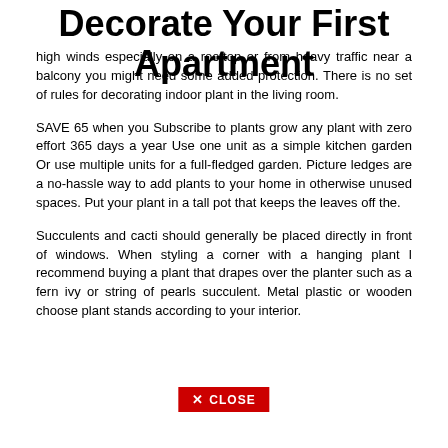Decorate Your First Apartment
high winds especially on a rooftop or from heavy traffic near a balcony you might need some added protection. There is no set of rules for decorating indoor plant in the living room.
SAVE 65 when you Subscribe to plants grow any plant with zero effort 365 days a year Use one unit as a simple kitchen garden Or use multiple units for a full-fledged garden. Picture ledges are a no-hassle way to add plants to your home in otherwise unused spaces. Put your plant in a tall pot that keeps the leaves off the.
Succulents and cacti should generally be placed directly in front of windows. When styling a corner with a hanging plant I recommend buying a plant that drapes over the planter such as a fern ivy or string of pearls succulent. Metal plastic or wooden choose plant stands according to your interior.
✕ CLOSE